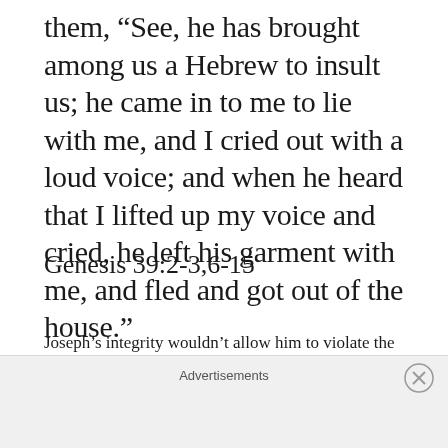them, “See, he has brought among us a Hebrew to insult us; he came in to me to lie with me, and I cried out with a loud voice; and when he heard that I lifted up my voice and cried, he left his garment with me, and fled and got out of the house.”
Genesis 39:2-3,6-15
Joseph’s integrity wouldn’t allow him to violate the trust that his master had put in him. He couldn’t lie with another man’s wife.
Advertisements